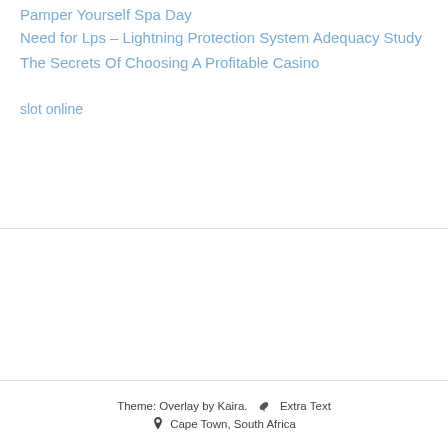Pamper Yourself Spa Day
Need for Lps – Lightning Protection System Adequacy Study
The Secrets Of Choosing A Profitable Casino
slot online
Theme: Overlay by Kaira. 🍃 Extra Text
📍 Cape Town, South Africa